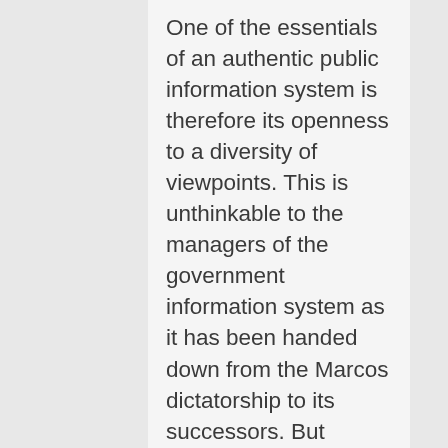One of the essentials of an authentic public information system is therefore its openness to a diversity of viewpoints. This is unthinkable to the managers of the government information system as it has been handed down from the Marcos dictatorship to its successors. But opening it to diverse views by making the media under its control forums for debate and discourse on public issues is